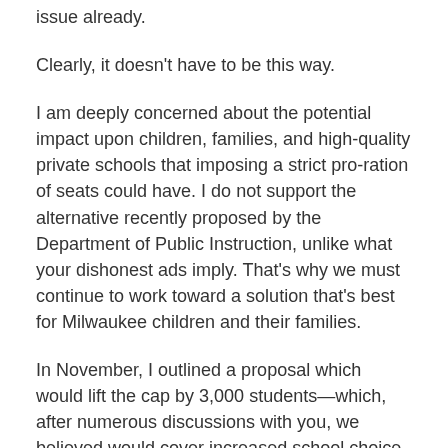issue already.
Clearly, it doesn’t have to be this way.
I am deeply concerned about the potential impact upon children, families, and high-quality private schools that imposing a strict pro-ration of seats could have. I do not support the alternative recently proposed by the Department of Public Instruction, unlike what your dishonest ads imply. That’s why we must continue to work toward a solution that’s best for Milwaukee children and their families.
In November, I outlined a proposal which would lift the cap by 3,000 students—which, after numerous discussions with you, we believed would cover increased school choice enrollments for the next two years. The 3,000 figure is also nearly 1,000 more students than the